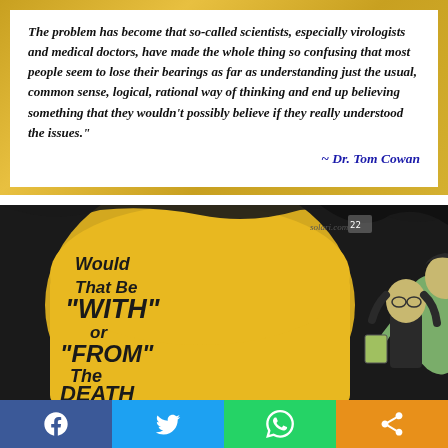The problem has become that so-called scientists, especially virologists and medical doctors, have made the whole thing so confusing that most people seem to lose their bearings as far as understanding just the usual, common sense, logical, rational way of thinking and end up believing something that they wouldn't possibly believe if they really understood the issues." ~ Dr. Tom Cowan
[Figure (illustration): Editorial cartoon showing text on a yellow sign reading 'Would That Be "WITH" or "FROM" The DEATH...' with two figures in the background, watermarked solari.com]
[Figure (infographic): Social media sharing bar at bottom with Facebook, Twitter, WhatsApp, and share buttons]